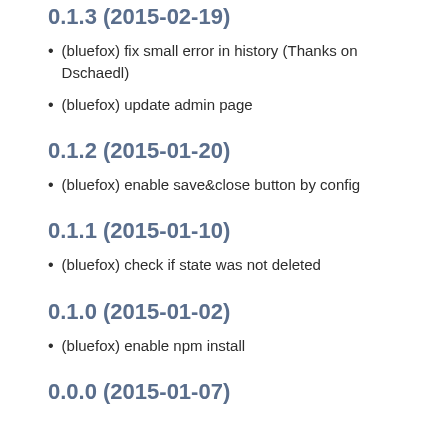0.1.3 (2015-02-19)
(bluefox) fix small error in history (Thanks on Dschaedl)
(bluefox) update admin page
0.1.2 (2015-01-20)
(bluefox) enable save&close button by config
0.1.1 (2015-01-10)
(bluefox) check if state was not deleted
0.1.0 (2015-01-02)
(bluefox) enable npm install
0.0.0 (2015-01-07)